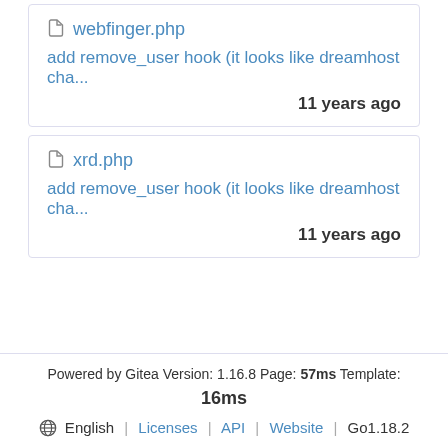webfinger.php
add remove_user hook (it looks like dreamhost cha...
11 years ago
xrd.php
add remove_user hook (it looks like dreamhost cha...
11 years ago
Powered by Gitea Version: 1.16.8 Page: 57ms Template:
16ms
⊕ English | Licenses | API | Website | Go1.18.2